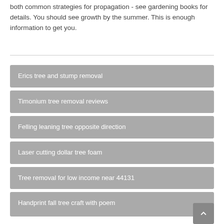both common strategies for propagation - see gardening books for details. You should see growth by the summer. This is enough information to get you.
Erics tree and stump removal
Timonium tree removal reviews
Felling leaning tree opposite direction
Laser cutting dollar tree foam
Tree removal for low income near 44131
Handprint fall tree craft with poem